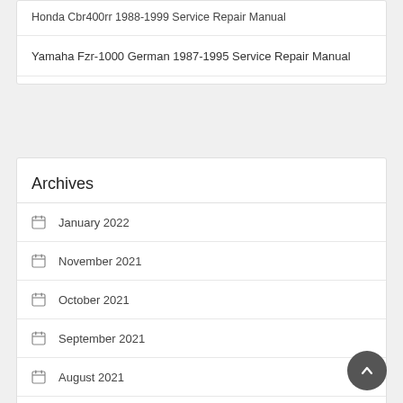Honda Cbr400rr 1988-1999 Service Repair Manual
Yamaha Fzr-1000 German 1987-1995 Service Repair Manual
Archives
January 2022
November 2021
October 2021
September 2021
August 2021
July 2021
June 2021